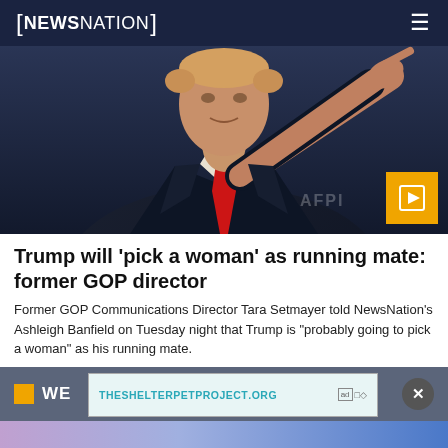[NEWSNATION]
[Figure (photo): Man in dark suit with red tie pointing at the camera, partially cropped, with a video play button overlay in the bottom right corner]
Trump will 'pick a woman' as running mate: former GOP director
Former GOP Communications Director Tara Setmayer told NewsNation's Ashleigh Banfield on Tuesday night that Trump is "probably going to pick a woman" as his running mate.
THESHELTERPETPROJECT.ORG